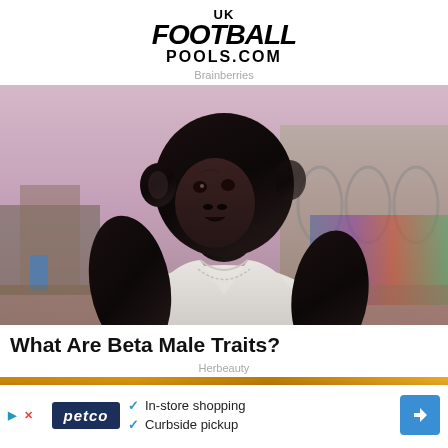[Figure (logo): UK Football Pools.com logo in bold black distressed/italic font]
Brainberries
[Figure (photo): A chimpanzee dressed in a white tank top and silver chain necklace, posed in front of a graffiti wall with a dramatic urban background]
What Are Beta Male Traits?
Herbeauty
[Figure (screenshot): Petco advertisement banner: In-store shopping and Curbside pickup with checkmarks, petco logo on left and blue directions icon on right]